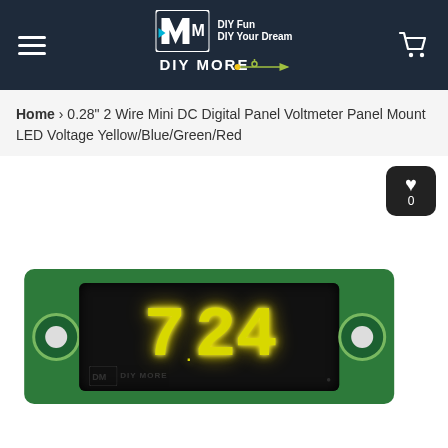DIY MORE — DIY Fun DIY Your Dream
Home > 0.28" 2 Wire Mini DC Digital Panel Voltmeter Panel Mount LED Voltage Yellow/Blue/Green/Red
[Figure (photo): Product photo of a 0.28 inch 2-wire mini DC digital panel voltmeter with yellow LED display showing 7.24, mounted on a green PCB with circular mounting holes on each side. The DIY MORE watermark logo is visible in the lower-left of the display module.]